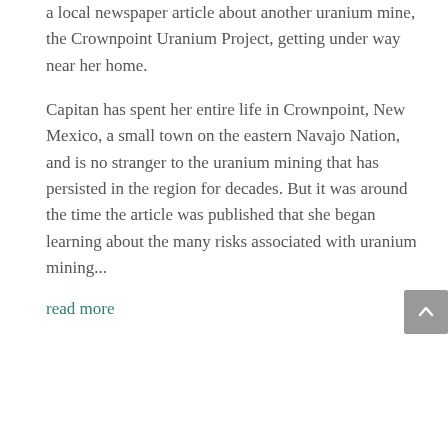a local newspaper article about another uranium mine, the Crownpoint Uranium Project, getting under way near her home.
Capitan has spent her entire life in Crownpoint, New Mexico, a small town on the eastern Navajo Nation, and is no stranger to the uranium mining that has persisted in the region for decades. But it was around the time the article was published that she began learning about the many risks associated with uranium mining...
read more